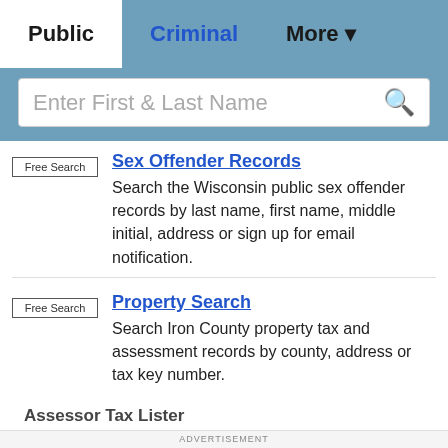Public | Criminal | More
Enter First & Last Name
Sex Offender Records
Search the Wisconsin public sex offender records by last name, first name, middle initial, address or sign up for email notification.
Property Search
Search Iron County property tax and assessment records by county, address or tax key number.
Assessor Tax Lister
ADVERTISEMENT